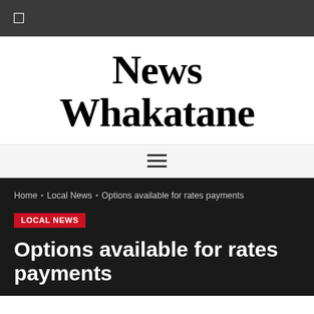☐
News Whakatane
≡
Home › Local News › Options available for rates payments
LOCAL NEWS
Options available for rates payments